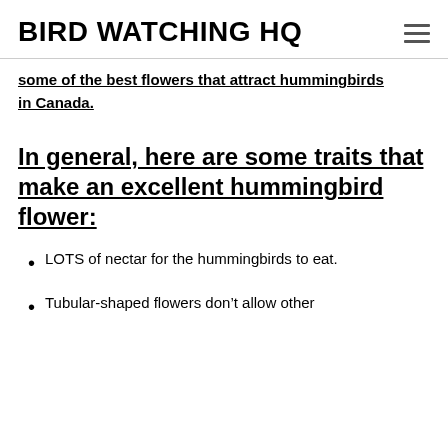BIRD WATCHING HQ
some of the best flowers that attract hummingbirds in Canada.
In general, here are some traits that make an excellent hummingbird flower:
LOTS of nectar for the hummingbirds to eat.
Tubular-shaped flowers don't allow other